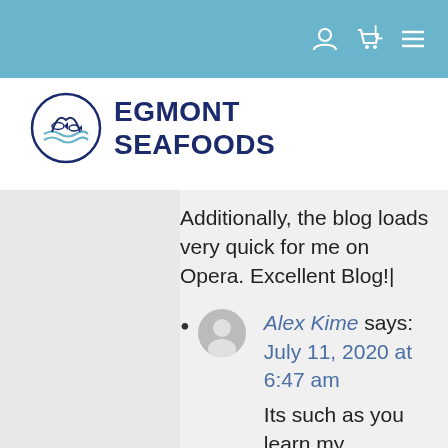Navigation bar with user, cart, and menu icons
[Figure (logo): Egmont Seafoods logo: circular emblem with fish and waves, next to bold navy text reading EGMONT SEAFOODS]
Additionally, the blog loads very quick for me on Opera. Excellent Blog!|
Alex Kime says: July 11, 2020 at 6:47 am — Its such as you learn my thoughts! You appear to know a lot approximately this, like you wrote the book in it